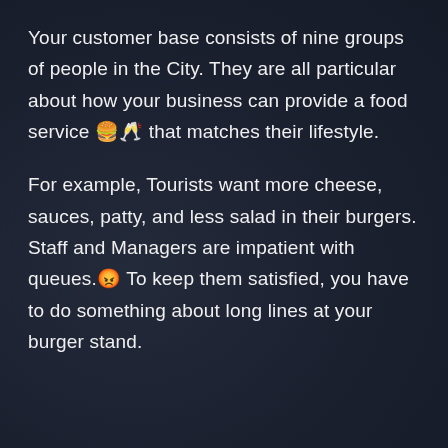Your customer base consists of nine groups of people in the City. They are all particular about how your business can provide a food service 🍔🥂 that matches their lifestyle.
For example, Tourists want more cheese, sauces, patty, and less salad in their burgers. Staff and Managers are impatient with queues.😡 To keep them satisfied, you have to do something about long lines at your burger stand.